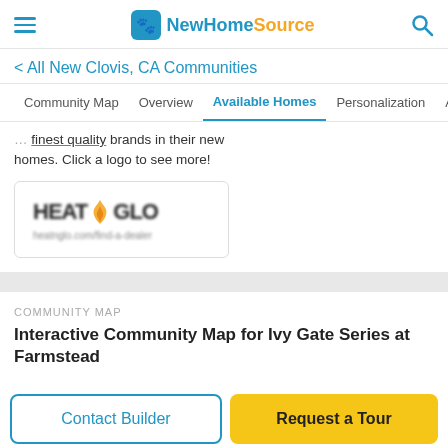NewHomeSource
< All New Clovis, CA Communities
Community Map   Overview   Available Homes   Personalization   Ame >
homes. Click a logo to see more!
[Figure (logo): Heat & Glo brand logo with flame icon, blurred]
COMMUNITY MAP
Interactive Community Map for Ivy Gate Series at Farmstead
Contact Builder
Request a Tour